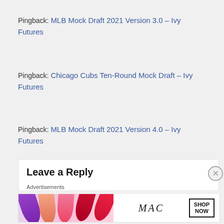Pingback: MLB Mock Draft 2021 Version 3.0 – Ivy Futures
Pingback: Chicago Cubs Ten-Round Mock Draft – Ivy Futures
Pingback: MLB Mock Draft 2021 Version 4.0 – Ivy Futures
Leave a Reply
Advertisements
[Figure (photo): MAC Cosmetics advertisement banner showing lipsticks in purple, peach, pink, and red colors with MAC logo and SHOP NOW button]